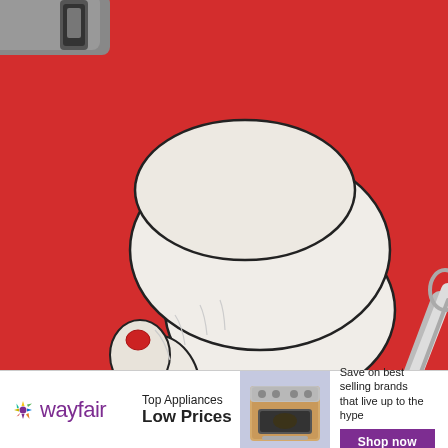[Figure (illustration): Stylized illustration on a red background: a large illustrated hand (with suit sleeve/watch) holding up a small black cat by the scruff of its neck. The cat hangs limply. In the bottom right, a silver tool (scissors or similar) is partially visible. The overall style is black-and-white line art against a vivid red background.]
[Figure (logo): Wayfair logo: colorful asterisk/star icon followed by 'wayfair' in purple text]
Top Appliances
Low Prices
[Figure (photo): Photo of a stainless steel range/stove appliance on a light blue/purple background]
Save on best selling brands that live up to the hype
Shop now